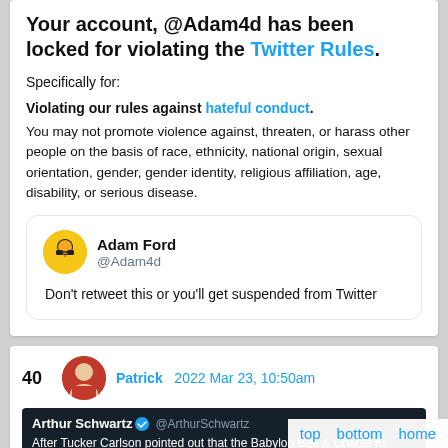Your account, @Adam4d has been locked for violating the Twitter Rules.
Specifically for:
Violating our rules against hateful conduct. You may not promote violence against, threaten, or harass other people on the basis of race, ethnicity, national origin, sexual orientation, gender, gender identity, religious affiliation, age, disability, or serious disease.
[Figure (screenshot): Embedded tweet from Adam Ford (@Adam4d): Don't retweet this or you'll get suspended from Twitter]
40  Patrick  2022 Mar 23, 10:50am
[Figure (screenshot): Dark-themed embedded tweet from Arthur Schwartz @ArthurSchwartz: After Tucker Carlson pointed out that the Babylon Bee & Charlie Ki... containing basic facts about human biology were accurate, Twitter...]
top  bottom  home